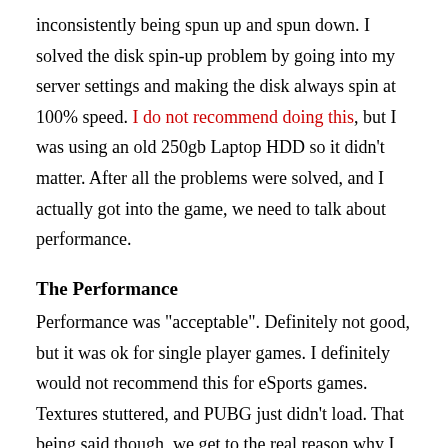inconsistently being spun up and spun down. I solved the disk spin-up problem by going into my server settings and making the disk always spin at 100% speed. I do not recommend doing this, but I was using an old 250gb Laptop HDD so it didn't matter. After all the problems were solved, and I actually got into the game, we need to talk about performance.
The Performance
Performance was "acceptable". Definitely not good, but it was ok for single player games. I definitely would not recommend this for eSports games. Textures stuttered, and PUBG just didn't load. That being said though, we get to the real reason why I tried this. The LAN party potential. With that in mind, and the true reason for gaming off of a NAS set, lets head to our new goal.